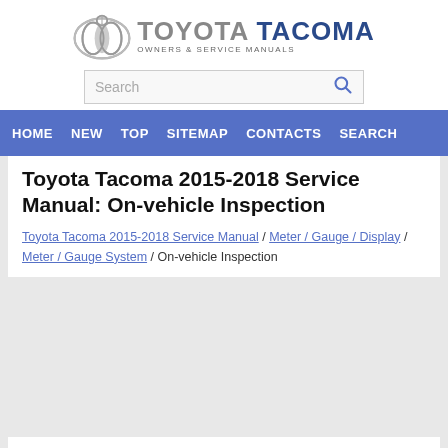[Figure (logo): Toyota Tacoma Owners & Service Manuals logo with Toyota ellipse emblem]
[Figure (screenshot): Search bar with magnifying glass icon]
HOME  NEW  TOP  SITEMAP  CONTACTS  SEARCH
Toyota Tacoma 2015-2018 Service Manual: On-vehicle Inspection
Toyota Tacoma 2015-2018 Service Manual / Meter / Gauge / Display / Meter / Gauge System / On-vehicle Inspection
ON-VEHICLE INSPECTION
PROCEDURE
1. INSPECT SPEEDOMETER